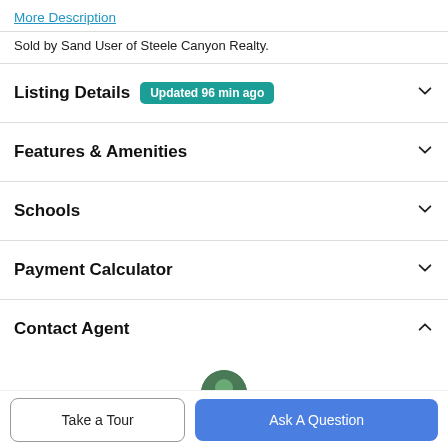More Description
Sold by Sand User of Steele Canyon Realty.
Listing Details  Updated 96 min ago
Features & Amenities
Schools
Payment Calculator
Contact Agent
[Figure (photo): Agent profile photo, partial circular avatar visible]
Take a Tour
Ask A Question